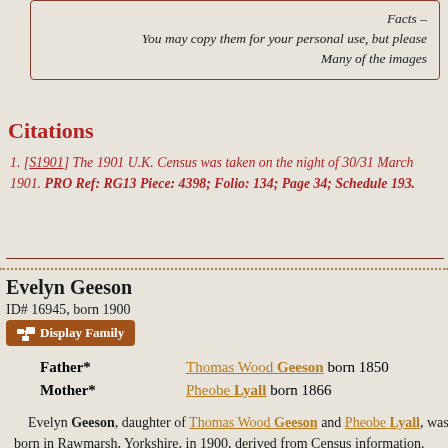Facts –
You may copy them for your personal use, but please
Many of the images
Citations
[S1901] The 1901 U.K. Census was taken on the night of 30/31 March 1901. PRO Ref: RG13 Piece: 4398; Folio: 134; Page 34; Schedule 193.
Evelyn Geeson
ID# 16945, born 1900
Display Family
| Relation | Name and Birth |
| --- | --- |
| Father* | Thomas Wood Geeson born 1850 |
| Mother* | Pheobe Lyall born 1866 |
Evelyn Geeson, daughter of Thomas Wood Geeson and Pheobe Lyall, was born in Rawmarsh, Yorkshire, in 1900, derived from Census information.